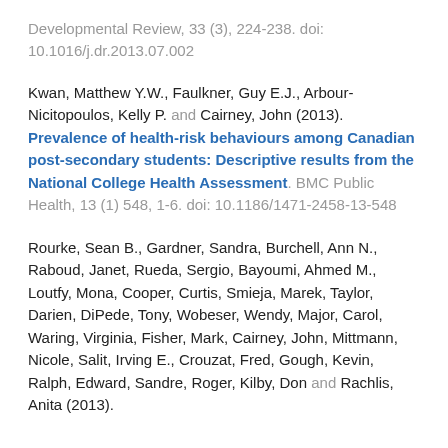Developmental Review, 33 (3), 224-238. doi: 10.1016/j.dr.2013.07.002
Kwan, Matthew Y.W., Faulkner, Guy E.J., Arbour-Nicitopoulos, Kelly P. and Cairney, John (2013). Prevalence of health-risk behaviours among Canadian post-secondary students: Descriptive results from the National College Health Assessment. BMC Public Health, 13 (1) 548, 1-6. doi: 10.1186/1471-2458-13-548
Rourke, Sean B., Gardner, Sandra, Burchell, Ann N., Raboud, Janet, Rueda, Sergio, Bayoumi, Ahmed M., Loutfy, Mona, Cooper, Curtis, Smieja, Marek, Taylor, Darien, DiPede, Tony, Wobeser, Wendy, Major, Carol, Waring, Virginia, Fisher, Mark, Cairney, John, Mittmann, Nicole, Salit, Irving E., Crouzat, Fred, Gough, Kevin, Ralph, Edward, Sandre, Roger, Kilby, Don and Rachlis, Anita (2013).